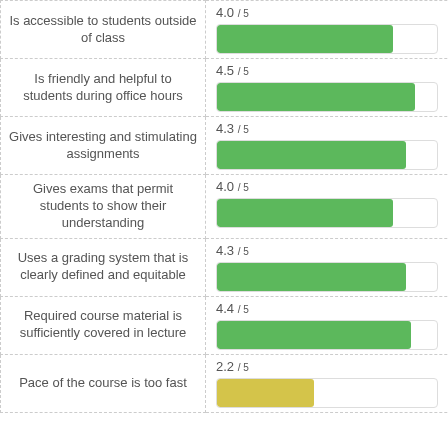[Figure (bar-chart): Course Evaluation Ratings]